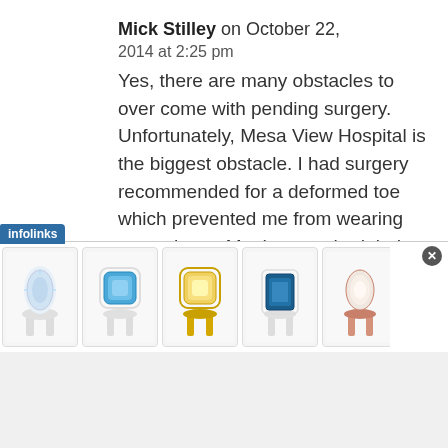Mick Stilley on October 22, 2014 at 2:25 pm
Yes, there are many obstacles to over come with pending surgery. Unfortunately, Mesa View Hospital is the biggest obstacle. I had surgery recommended for a deformed toe which prevented me from wearing most shoes. My doctor scheduled me for surgery at Mesa View
[Figure (screenshot): Infolinks advertisement bar showing 5 jewelry ring images and a brand logo]
infolinks